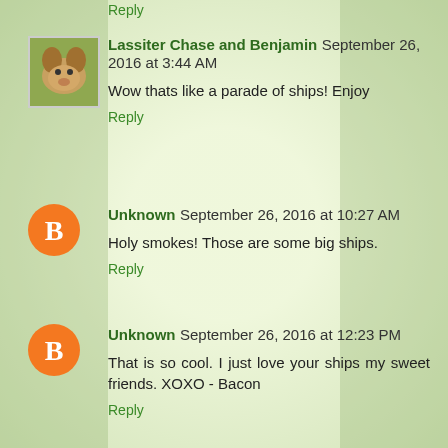Reply
Lassiter Chase and Benjamin September 26, 2016 at 3:44 AM
Wow thats like a parade of ships! Enjoy
Reply
Unknown September 26, 2016 at 10:27 AM
Holy smokes! Those are some big ships.
Reply
Unknown September 26, 2016 at 12:23 PM
That is so cool. I just love your ships my sweet friends. XOXO - Bacon
Reply